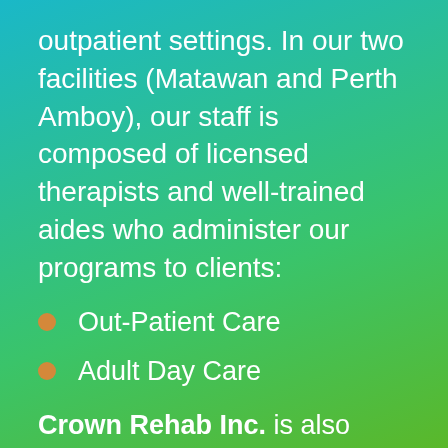outpatient settings. In our two facilities (Matawan and Perth Amboy), our staff is composed of licensed therapists and well-trained aides who administer our programs to clients:
Out-Patient Care
Adult Day Care
Crown Rehab Inc. is also known to be an expert in the documentation, communication, and authorization process for all reimbursing entities such as Medicare, Private Insurance, Omnicare, and Managed...